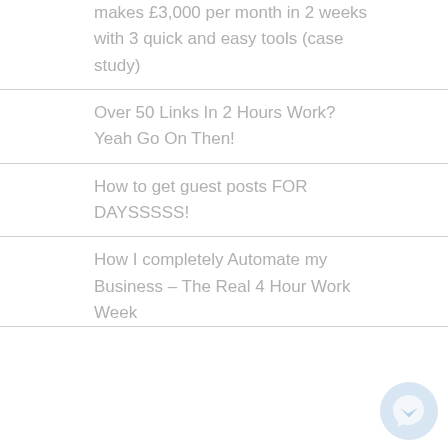makes £3,000 per month in 2 weeks with 3 quick and easy tools (case study)
Over 50 Links In 2 Hours Work? Yeah Go On Then!
How to get guest posts FOR DAYSSSSS!
How I completely Automate my Business – The Real 4 Hour Work Week